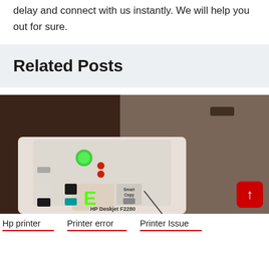delay and connect with us instantly. We will help you out for sure.
Related Posts
[Figure (photo): HP Deskjet F2280 All-in-One printer control panel showing green power light, red error lights, and glowing E on the display, photographed in dim lighting]
Hp printer   Printer error   Printer Issue